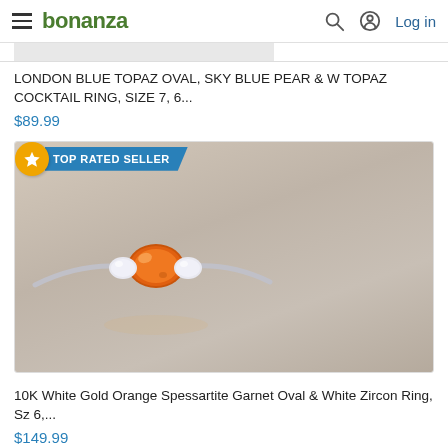bonanza — Log in
LONDON BLUE TOPAZ OVAL, SKY BLUE PEAR & W TOPAZ COCKTAIL RING, SIZE 7, 6...
$89.99
[Figure (photo): Product listing card with TOP RATED SELLER badge and photo of a ring with orange spessartite garnet oval and white zircon stones on a silver band, displayed on a light background.]
10K White Gold Orange Spessartite Garnet Oval & White Zircon Ring, Sz 6,...
$149.99